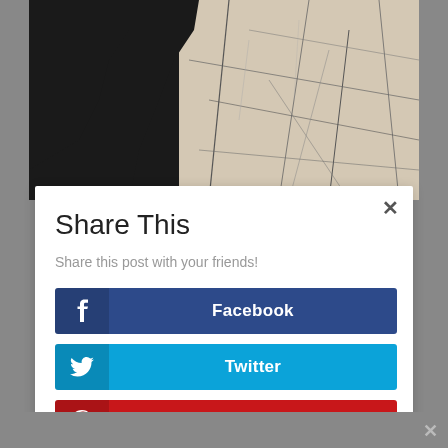[Figure (photo): Cracked stone or dried earth texture with black and white tones, aerial or close-up view]
Share This
Share this post with your friends!
Facebook
Twitter
Pinterest